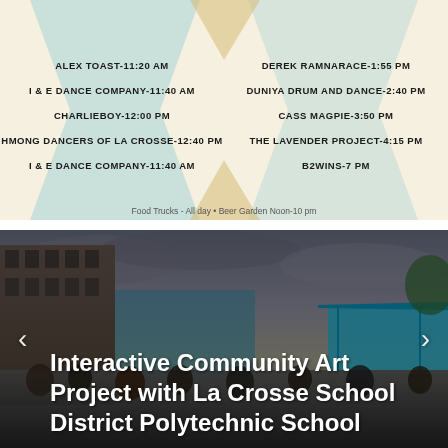[Figure (infographic): Event schedule poster with decorative chevron/triangle shapes in light yellow and blue. Two-column layout listing performers with times. Food Trucks note at bottom.]
Food Trucks - All day • Beer Garden Noon-10 pm
[Figure (photo): Outdoor community event photo showing a large crowd gathered in an urban plaza with a brick building on the left, a teal canopy tent on the right, and a mural visible in the background under a dramatic cloudy sky. Navigation arrows on left and right sides. Text overlay reads: Interactive Community Art Project with La Crosse School District Polytechnic School]
Interactive Community Art Project with La Crosse School District Polytechnic School